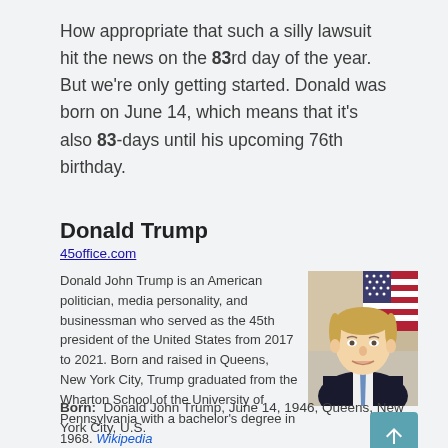How appropriate that such a silly lawsuit hit the news on the 83rd day of the year. But we're only getting started. Donald was born on June 14, which means that it's also 83-days until his upcoming 76th birthday.
Donald Trump
45office.com
Donald John Trump is an American politician, media personality, and businessman who served as the 45th president of the United States from 2017 to 2021. Born and raised in Queens, New York City, Trump graduated from the Wharton School of the University of Pennsylvania with a bachelor's degree in 1968. Wikipedia
[Figure (photo): Portrait photo of Donald Trump smiling, wearing a dark suit with a blue tie, American flag visible in background]
Born: Donald John Trump, June 14, 1946, Queens, New York City, U.S.